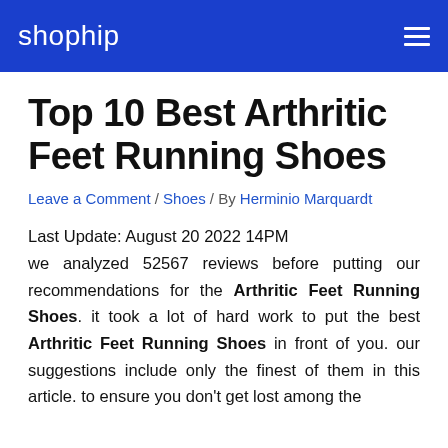shophip
Top 10 Best Arthritic Feet Running Shoes
Leave a Comment / Shoes / By Herminio Marquardt
Last Update: August 20 2022 14PM we analyzed 52567 reviews before putting our recommendations for the Arthritic Feet Running Shoes. it took a lot of hard work to put the best Arthritic Feet Running Shoes in front of you. our suggestions include only the finest of them in this article. to ensure you don't get lost among the